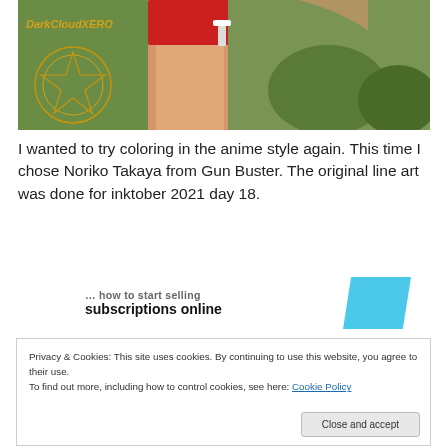[Figure (illustration): Anime-style illustration showing a character's legs in red shorts, with a watermark 'DarkCloudXERO' and gold emblem on the left side, rocks in the background]
I wanted to try coloring in the anime style again. This time I chose Noriko Takaya from Gun Buster. The original line art was done for inktober 2021 day 18.
[Figure (infographic): Advertisement banner with text '...how to start selling subscriptions online' with blue parallelogram shape]
Privacy & Cookies: This site uses cookies. By continuing to use this website, you agree to their use.
To find out more, including how to control cookies, see here: Cookie Policy